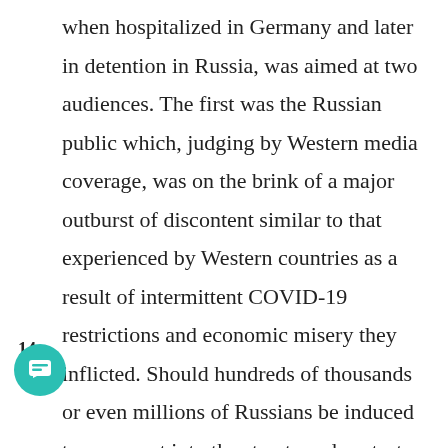when hospitalized in Germany and later in detention in Russia, was aimed at two audiences. The first was the Russian public which, judging by Western media coverage, was on the brink of a major outburst of discontent similar to that experienced by Western countries as a result of intermittent COVID-19 restrictions and economic misery they inflicted. Should hundreds of thousands or even millions of Russians be induced to come out into the streets and protest either for Navalny or against Vladimir Putin, it would constitute a show of political strength that might compel the Russian government, under pressure by economic special interests backing Navalny and by foreign governments, to make concessions. How far-reaching these concessions would be depend on the level of protest, with a Maidan-style outcome actually being contemplated by several political observers in the West. The other target was Europe, or specifically the European Union and Germany which has been under US pressure to abandon the North Stream 2 pipeline
14